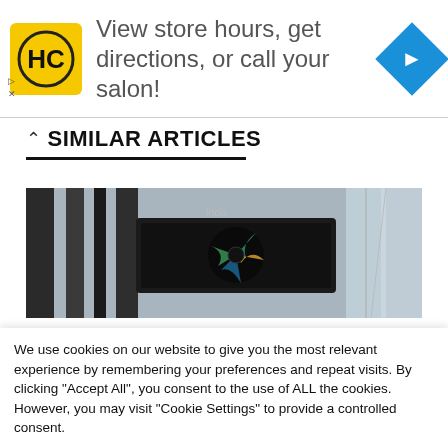[Figure (other): Advertisement banner with HC salon logo (yellow square with HC letters), text 'View store hours, get directions, or call your salon!', and a blue diamond navigation icon. Small play and close controls at bottom left.]
SIMILAR ARTICLES
[Figure (photo): Close-up photo of a mechanical or electronic device with metallic/glass parts, showing crystal-like acrylic blocks and a dark component with colorful fan blades or reflective surfaces.]
We use cookies on our website to give you the most relevant experience by remembering your preferences and repeat visits. By clicking "Accept All", you consent to the use of ALL the cookies. However, you may visit "Cookie Settings" to provide a controlled consent.
Cookie Settings   Accept All